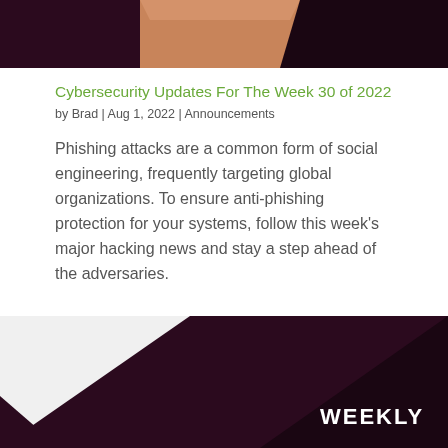[Figure (illustration): Top portion of a cybersecurity themed illustration with dark purple/maroon background and skin-toned figure element visible at the top of the page]
Cybersecurity Updates For The Week 30 of 2022
by Brad | Aug 1, 2022 | Announcements
Phishing attacks are a common form of social engineering, frequently targeting global organizations. To ensure anti-phishing protection for your systems, follow this week's major hacking news and stay a step ahead of the adversaries.
[Figure (illustration): Bottom portion of a cybersecurity themed illustration with dark purple/maroon background and the word WEEKLY visible in white bold text on the right side]